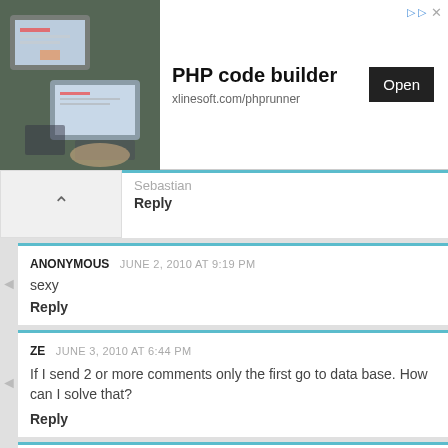[Figure (screenshot): Ad banner for PHP code builder with photo of person using tablet, Open button, and xlinesoft.com/phprunner URL]
Sebastian
Reply
ANONYMOUS  JUNE 2, 2010 AT 9:19 PM
sexy
Reply
ZE  JUNE 3, 2010 AT 6:44 PM
If I send 2 or more comments only the first go to data base. How can I solve that?
Reply
SEBA  JUNE 3, 2010 AT 7:56 PM
Hi Srinivas & People!